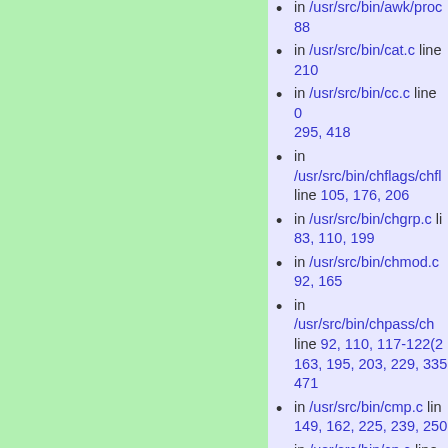[Figure (other): Green background panel on the left side of the page]
in /usr/src/bin/awk/proc... 88
in /usr/src/bin/cat.c line 210
in /usr/src/bin/cc.c line 295, 418
in /usr/src/bin/chflags/chfl... line 105, 176, 206
in /usr/src/bin/chgrp.c li... 83, 110, 199
in /usr/src/bin/chmod.c 92, 165
in /usr/src/bin/chpass/ch... line 92, 110, 117-122(2) 163, 195, 203, 229, 335 471
in /usr/src/bin/cmp.c lin... 149, 162, 225, 239, 250
in /usr/src/bin/cp.c line 75(2)
in /usr/src/bin/date.c lin... 85, 97, 140, 154
in /usr/src/bin/dd.c line 258, 266, 275, 285, 42...